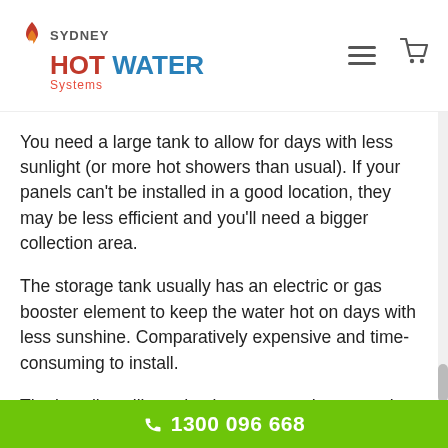Sydney Hot Water Systems
You need a large tank to allow for days with less sunlight (or more hot showers than usual). If your panels can't be installed in a good location, they may be less efficient and you'll need a bigger collection area.
The storage tank usually has an electric or gas booster element to keep the water hot on days with less sunshine. Comparatively expensive and time-consuming to install.
The installer will need to inspect your home to plan the installation, but the actual installation should usually be a day's work or less. A well-chosen system
1300 096 668